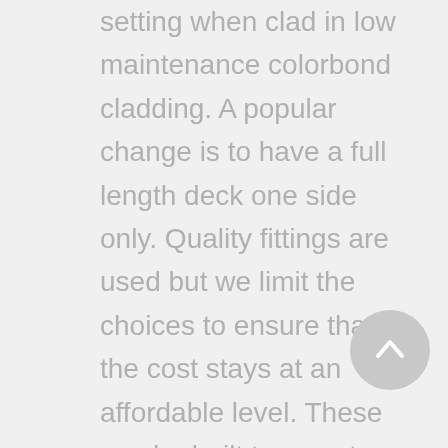setting when clad in low maintenance colorbond cladding. A popular change is to have a full length deck one side only. Quality fittings are used but we limit the choices to ensure that the cost stays at an affordable level. These can be built to any stage for the owner builder to complete or finished ready to move in. Alternate roof styles are easily done [/vc_column_text] [vc_empty_space][vc_row_inner row_type='row' type='full_width' text_align='center' css_animation='' css='.vc_custom_1474898031408{background-color: #d1d1d1 !important;}'] [vc_column_inner][vc_empty_space height='10px'][vc_column_text] 3 1  0  112 25  [/vc_column_text]